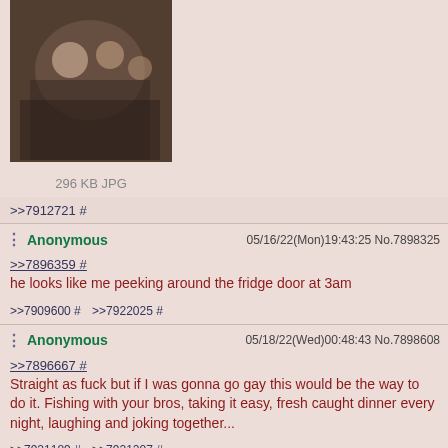[Figure (photo): Historical painting thumbnail showing a group of people in a dark scene]
296 KB JPG
>>7912721 #
Anonymous 05/16/22(Mon)19:43:25 No.7898325
>>7896359 #
he looks like me peeking around the fridge door at 3am
>>7909600 # >>7922025 #
Anonymous 05/18/22(Wed)00:48:43 No.7898608
>>7896667 #
Straight as fuck but if I was gonna go gay this would be the way to do it. Fishing with your bros, taking it easy, fresh caught dinner every night, laughing and joking together...
>>7921189 # >>7921207 #
Anonymous 05/22/22(Sun)20:27:44 No.7900153
[Figure (photo): Partial image visible at bottom of page]